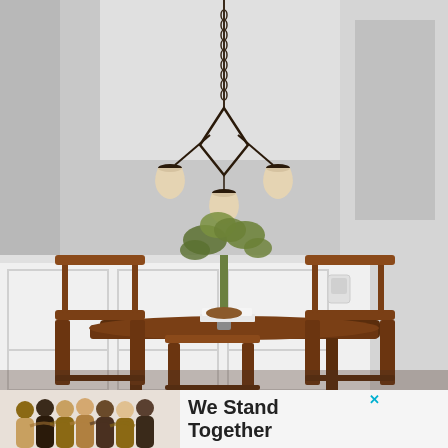[Figure (photo): Interior dining room photo showing a dark bronze chandelier with three cream-colored bell shades hanging from a chain over a dark wood dining table surrounded by wooden chairs. The room has a gray upper wall and white wainscoting on the lower half. A green plant in a vase sits centered on the table with some books and a bowl.]
[Figure (photo): Advertisement banner at the bottom. Left side shows a group of diverse people with arms around each other seen from behind. Right side shows bold text 'We Stand Together' with a close button (X) and a logo mark with W° symbol.]